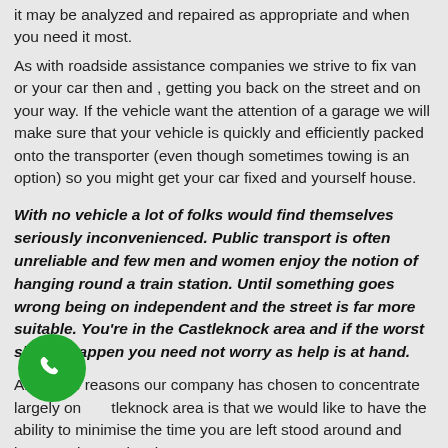it may be analyzed and repaired as appropriate and when you need it most.
As with roadside assistance companies we strive to fix van or your car then and , getting you back on the street and on your way. If the vehicle want the attention of a garage we will make sure that your vehicle is quickly and efficiently packed onto the transporter (even though sometimes towing is an option) so you might get your car fixed and yourself house.
With no vehicle a lot of folks would find themselves seriously inconvenienced. Public transport is often unreliable and few men and women enjoy the notion of hanging round a train station. Until something goes wrong being on independent and the street is far more suitable. You're in the Castleknock area and if the worst should happen you need not worry as help is at hand.
Among the reasons our company has chosen to concentrate largely on the Castleknock area is that we would like to have the ability to minimise the time you are left stood around and because it's our local
[Figure (other): Green circular phone call button icon in the bottom-left area of the page]